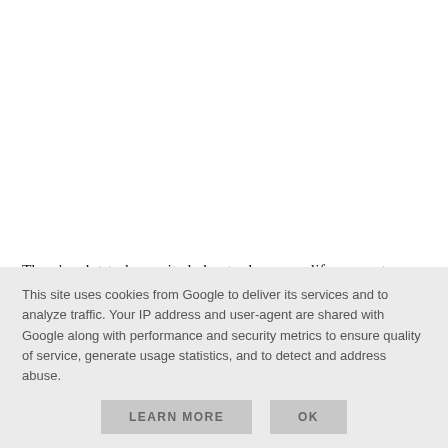There's a lot to be excited about when your life seems to now revolve around waiting for the postie to deliver your subscription boxes! From DIY burger kits, new books, Gin deliveries and of course, the monthly beauty boxes, opening up a subscription box
This site uses cookies from Google to deliver its services and to analyze traffic. Your IP address and user-agent are shared with Google along with performance and security metrics to ensure quality of service, generate usage statistics, and to detect and address abuse.
LEARN MORE   OK